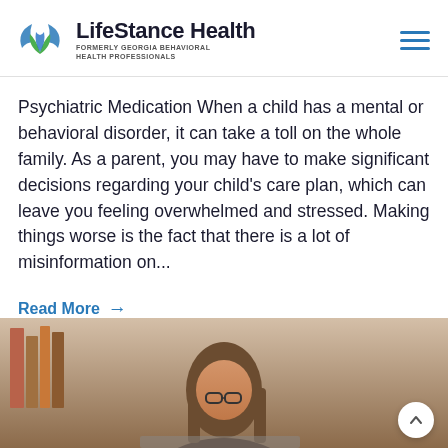LifeStance Health — FORMERLY GEORGIA BEHAVIORAL HEALTH PROFESSIONALS
Psychiatric Medication When a child has a mental or behavioral disorder, it can take a toll on the whole family. As a parent, you may have to make significant decisions regarding your child's care plan, which can leave you feeling overwhelmed and stressed. Making things worse is the fact that there is a lot of misinformation on...
Read More →
[Figure (photo): Woman with glasses and long hair looking at a laptop, seated at a desk with bookshelves in the background.]